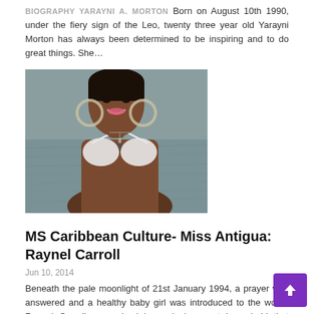BIOGRAPHY YARAYNI A. MORTON Born on August 10th 1990, under the fiery sign of the Leo, twenty three year old Yarayni Morton has always been determined to be inspiring and to do great things. She...
[Figure (photo): Young woman in white bikini top with large hoop earrings, smiling, near water backdrop]
MS Caribbean Culture- Miss Antigua: Raynel Carroll
Jun 10, 2014
Beneath the pale moonlight of 21st January 1994, a prayer was answered and a healthy baby girl was introduced to the world. Raynel Carroll was raised in a single-parent household that offered unending...
[Figure (photo): Young woman with natural updo hairstyle, smiling, aqua/teal background with gold arc element]